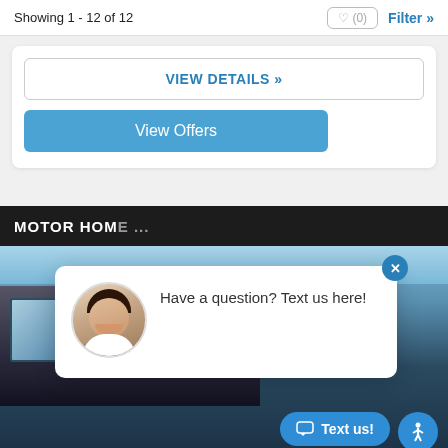Showing 1 - 12 of 12
VIEW DETAILS »
View Offers
MOTOR HOME
[Figure (photo): RV/Motor home exterior photo from low angle showing front and side of vehicle against blue sky]
[Figure (photo): Chat popup with woman's avatar photo and text: Have a question? Text us here!]
Have a question? Text us here!
Text us!